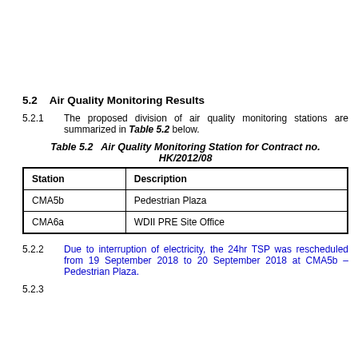5.2    Air Quality Monitoring Results
5.2.1    The proposed division of air quality monitoring stations are summarized in Table 5.2 below.
Table 5.2    Air Quality Monitoring Station for Contract no. HK/2012/08
| Station | Description |
| --- | --- |
| CMA5b | Pedestrian Plaza |
| CMA6a | WDII PRE Site Office |
5.2.2    Due to interruption of electricity, the 24hr TSP was rescheduled from 19 September 2018 to 20 September 2018 at CMA5b – Pedestrian Plaza.
5.2.3    Due to interruption of electricity, the 24hr TSP was rescheduled...